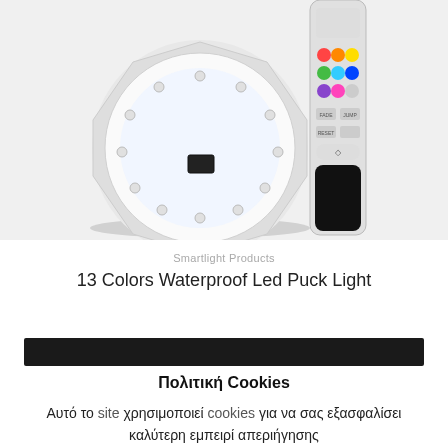[Figure (photo): Photo of a clear round LED puck light with multiple small LEDs visible, alongside a multicolor RF remote control with colored buttons]
Smartlight Products
13 Colors Waterproof Led Puck Light
[Figure (other): Dark black banner/bar overlay element]
Πολιτική Cookies
Αυτό το site χρησιμοποιεί cookies για να σας εξασφαλίσει καλύτερη εμπειρί απεριήγησης